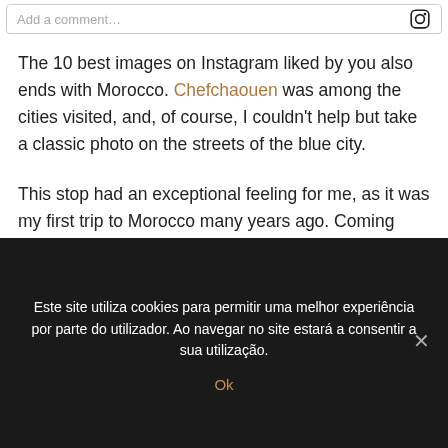The 10 best images on Instagram liked by you also ends with Morocco. Chefchaouen was among the cities visited, and, of course, I couldn't help but take a classic photo on the streets of the blue city.
This stop had an exceptional feeling for me, as it was my first trip to Morocco many years ago. Coming back and being able to record the moment this time made me very happy.
Este site utiliza cookies para permitir uma melhor experiência por parte do utilizador. Ao navegar no site estará a consentir a sua utilização.
Ok